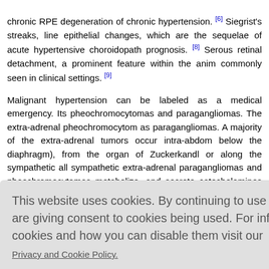chronic RPE degeneration of chronic hypertension. [6] Siegrist's streaks, line epithelial changes, which are the sequelae of acute hypertensive choroidopath prognosis. [8] Serous retinal detachment, a prominent feature within the anim commonly seen in clinical settings. [9]
Malignant hypertension can be labeled as a medical emergency. Its pheochromocytomas and paragangliomas. The extra-adrenal pheochromocytom as paragangliomas. A majority of the extra-adrenal tumors occur intra-abdom below the diaphragm), from the organ of Zuckerkandl or along the sympathetic all sympathetic extra-adrenal paragangliomas and pheochromocytomas metabolize, and secrete catecholamines or their metabolites.
-30% cases unilateral, n adrenal pl plasia type inant inher forms. [11]
cholamine er a persist stained hyp contrary, a small, however a vital proportion of patients with pheochromocytoma